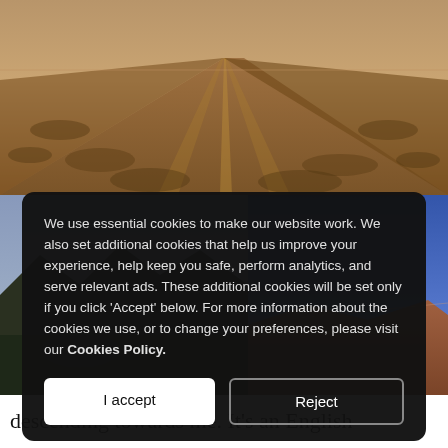[Figure (photo): Dirt road stretching into the distance through arid desert landscape with dry scrubby terrain on both sides, viewed from a low perspective looking toward the horizon.]
[Figure (photo): Landscape photo on the left: dark mountains and greenish terrain in the background with sky.]
[Figure (photo): Landscape photo on the right: clear blue sky with arid reddish-brown hills/terrain below.]
We use essential cookies to make our website work. We also set additional cookies that help us improve your experience, help keep you safe, perform analytics, and serve relevant ads. These additional cookies will be set only if you click ‘Accept’ below. For more information about the cookies we use, or to change your preferences, please visit our Cookies Policy.
I accept
Reject
descending towards me. It’s an English